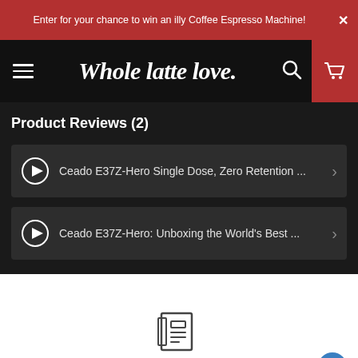Enter for your chance to win an illy Coffee Espresso Machine!
[Figure (screenshot): Whole latte love website navigation bar with hamburger menu, logo, search icon, and cart icon on dark background]
Product Reviews (2)
Ceado E37Z-Hero Single Dose, Zero Retention ...
Ceado E37Z-Hero: Unboxing the World's Best ...
[Figure (illustration): Newspaper/document icon in the center of a white area, with a circular help/question mark button at the bottom right]